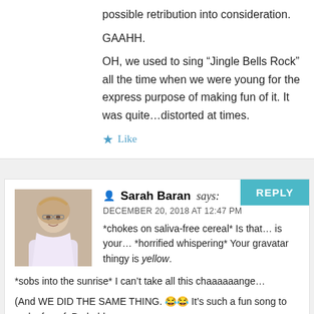possible retribution into consideration.
GAAHH.
OH, we used to sing “Jingle Bells Rock” all the time when we were young for the express purpose of making fun of it. It was quite…distorted at times.
★ Like
[Figure (photo): Avatar photo of Sarah Baran, a woman with glasses and light wavy hair]
Sarah Baran says: DECEMBER 20, 2018 AT 12:47 PM
*chokes on saliva-free cereal* Is that… is your… *horrified whispering* Your gravatar thingy is yellow.
*sobs into the sunrise* I can’t take all this chaaaaaange…
(And WE DID THE SAME THING. 😂😂 It’s such a fun song to make fun of. Probably